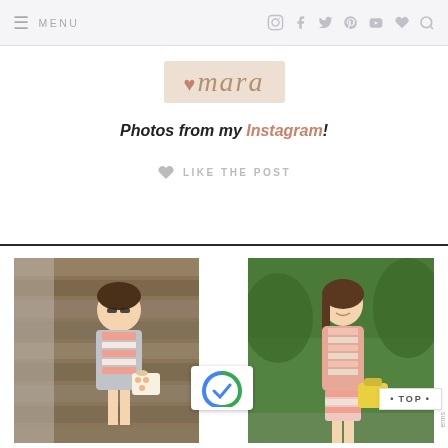≡ MENU | social icons: Instagram, Facebook, Twitter, Pinterest, YouTube, Heart, Search
[Figure (logo): Heart mara script logo on pink/beige background]
Photos from my Instagram!
♥ LIKE THE POST
[Figure (photo): Woman in striped dress and grey jacket holding white bag, standing against wooden wall]
[Figure (photo): Woman in striped dress and pink cardigan holding yellow bag, standing outdoors]
• TOP •